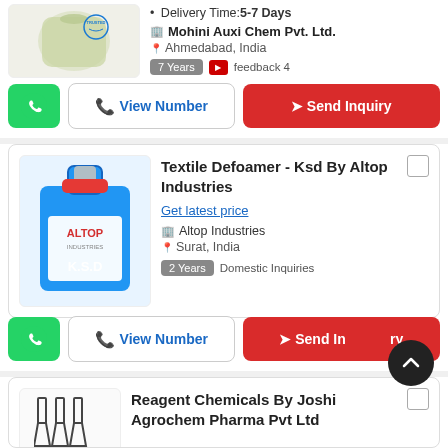[Figure (photo): Product image of a chemical in a glass container with a TRUSTED stamp overlay]
Delivery Time: 5-7 Days
Mohini Auxi Chem Pvt. Ltd.
Ahmedabad, India
7 Years | feedback 4
WhatsApp | View Number | Send Inquiry
[Figure (photo): Blue plastic canister with ALTOP INDUSTRIES K.S.D label]
Textile Defoamer - Ksd By Altop Industries
Get latest price
Altop Industries
Surat, India
2 Years | Domestic Inquiries
WhatsApp | View Number | Send Inquiry
[Figure (illustration): Icon of laboratory flasks/reagent bottles]
Reagent Chemicals By Joshi Agrochem Pharma Pvt Ltd